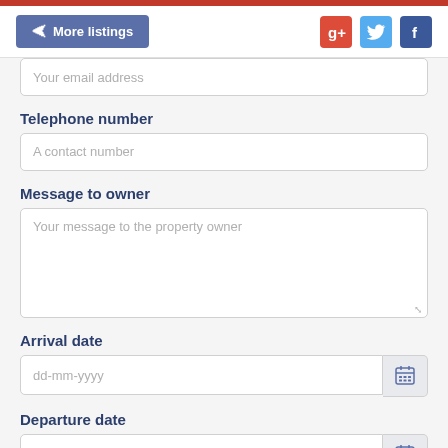More listings | Google+ Twitter Facebook
Your email address
Telephone number
A contact number
Message to owner
Your message to the property owner
Arrival date
dd-mm-yyyy
Departure date
dd-mm-yyyy